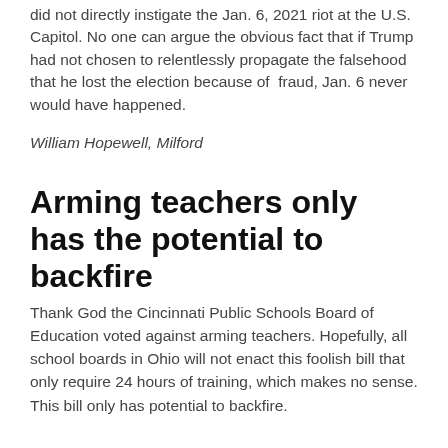did not directly instigate the Jan. 6, 2021 riot at the U.S. Capitol. No one can argue the obvious fact that if Trump had not chosen to relentlessly propagate the falsehood that he lost the election because of fraud, Jan. 6 never would have happened.
William Hopewell, Milford
Arming teachers only has the potential to backfire
Thank God the Cincinnati Public Schools Board of Education voted against arming teachers. Hopefully, all school boards in Ohio will not enact this foolish bill that only require 24 hours of training, which makes no sense. This bill only has potential to backfire.